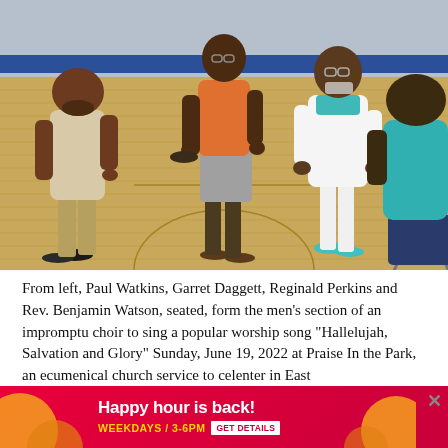[Figure (photo): Four men in a gymnasium/recreation center with a wooden basketball court floor and blue padded walls. From left: a heavyset man in a light button-up shirt and khaki pants, a tall man in an orange t-shirt and gray shorts, a man in a white and teal outfit, and a man in a teal shirt seated in a blue folding chair. They appear to be singing or conversing.]
From left, Paul Watkins, Garret Daggett, Reginald Perkins and Rev. Benjamin Watson, seated, form the men's section of an impromptu choir to sing a popular worship song "Hallelujah, Salvation and Glory" Sunday, June 19, 2022 at Praise In the Park, an ecumenical church service to cele[brate...] enter in East[...]
[Figure (infographic): Advertisement banner: red background with orange decorative circles on left and right. Text reads 'Happy hour is back!' with subtitle 'WEEKDAYS / 3-6PM' and a 'GET DETAILS' button. A close (X) button appears in the upper right.]